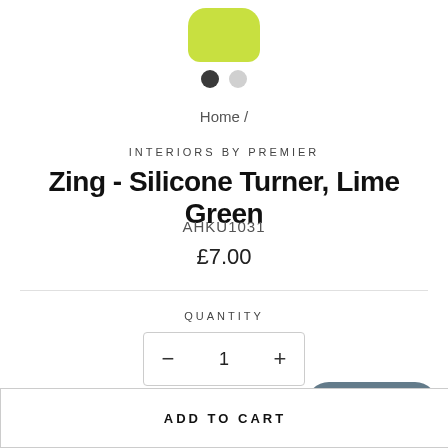[Figure (photo): Partial view of a lime green silicone turner product image, cropped at the top]
[Figure (other): Carousel navigation dots: one dark filled circle and one light gray circle]
Home /
INTERIORS BY PREMIER
Zing - Silicone Turner, Lime Green
AHKU1031
£7.00
QUANTITY
− 1 +
1 in stock
Chat with us
ADD TO CART